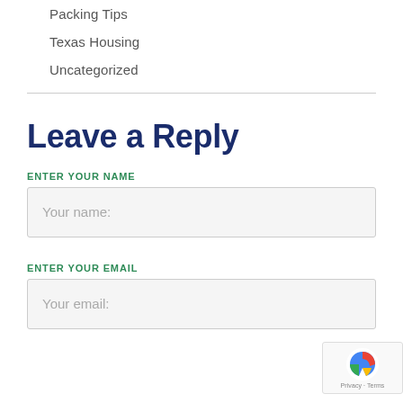Packing Tips
Texas Housing
Uncategorized
Leave a Reply
ENTER YOUR NAME
Your name:
ENTER YOUR EMAIL
Your email: